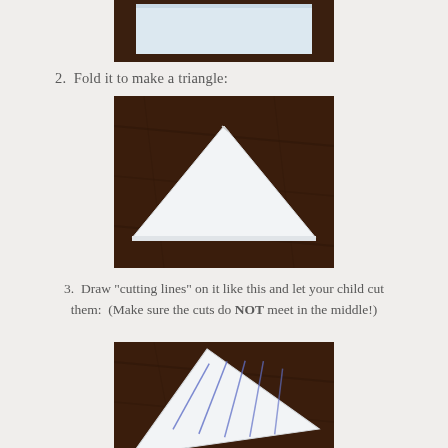[Figure (photo): Top portion of a photo showing white paper on a dark wooden surface, cropped at top]
2.  Fold it to make a triangle:
[Figure (photo): Photo of a white piece of paper folded into a triangle shape, lying on a dark brown wooden surface]
3.  Draw "cutting lines" on it like this and let your child cut them:  (Make sure the cuts do NOT meet in the middle!)
[Figure (photo): Photo of a white piece of paper folded into a triangle with blue pencil cutting lines drawn on it, lying on a dark brown wooden surface]